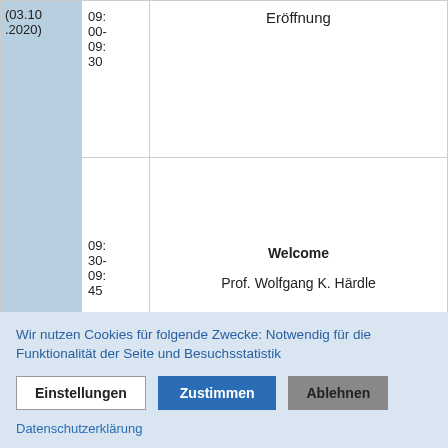| Date | Time | Event |
| --- | --- | --- |
| (03.10.2020) | 09:
00-
09:
30 | Eröffnung |
|  | 09:
30-
09:
45 | Welcome
Prof. Wolfgang K. Härdle |
|  | 09:
45-
10:
00 | Newcomer Introduction "Map/Food/Smiles"
Maria Culjak |
|  | 10:
00-
10:
.. | Keynote Talk - Weining Wang
Inference of Break-Points in High-Dimensional Time |
Wir nutzen Cookies für folgende Zwecke: Notwendig für die Funktionalität der Seite und Besuchsstatistik
Einstellungen | Zustimmen | Ablehnen
Datenschutzerklärung